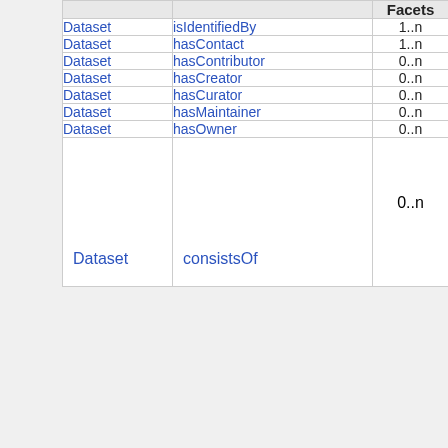|  |  | Facets |
| --- | --- | --- |
| Dataset | isIdentifiedBy | 1..n |
| Dataset | hasContact | 1..n |
| Dataset | hasContributor | 0..n |
| Dataset | hasCreator | 0..n |
| Dataset | hasCurator | 0..n |
| Dataset | hasMaintainer | 0..n |
| Dataset | hasOwner | 0..n |
| Dataset | consistsOf | 0..n |